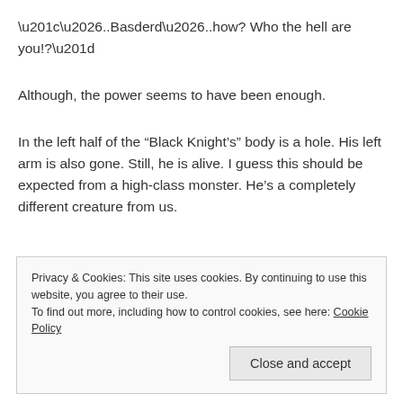“…..Basderd…..how? Who the hell are you!?”
Although, the power seems to have been enough.
In the left half of the “Black Knight’s” body is a hole. His left arm is also gone. Still, he is alive. I guess this should be expected from a high-class monster. He’s a completely different creature from us.
He’s coming towards me. Although another blast of “Dragon
Privacy & Cookies: This site uses cookies. By continuing to use this website, you agree to their use.
To find out more, including how to control cookies, see here: Cookie Policy
Close and accept